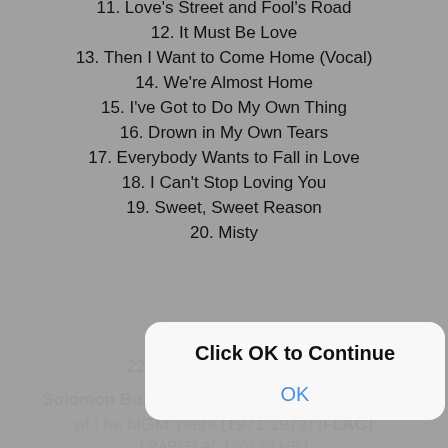11. Love's Street and Fool's Road
12. It Must Be Love
13. Then I Want to Come Home (Vocal)
14. We're Almost Home
15. I've Got to Do My Own Thing
16. Drown in My Own Tears
17. Everybody Wants to Fall in Love
18. I Can't Stop Loving You
19. Sweet, Sweet Reason
20. Misty
21. Georgia up North
22. Here Comes the Train
Solomon Burke - That's Heavy Baby: The Best of the MGM Years (1971-1973) [FLAC]
[ RAR] FLAC | 504.88 MB ]
[Figure (screenshot): Modal dialog box with 'Click OK to Continue' title and an OK button, overlaid on the page content]
[Figure (other): Broken image icon placeholder]
Solomon Burke - That's Heavy Baby: The Best of the MGM Years (1971-1973) [FLAC]
**Uploaded:
http://ul.to/9peu5ue5
**Faststore: